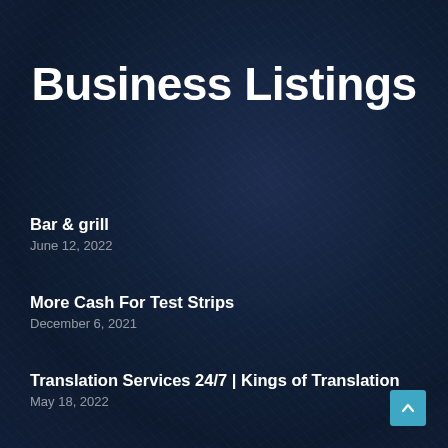Business Listings
Bar & grill
June 12, 2022
More Cash For Test Strips
December 6, 2021
Translation Services 24/7 | Kings of Translation
May 18, 2022